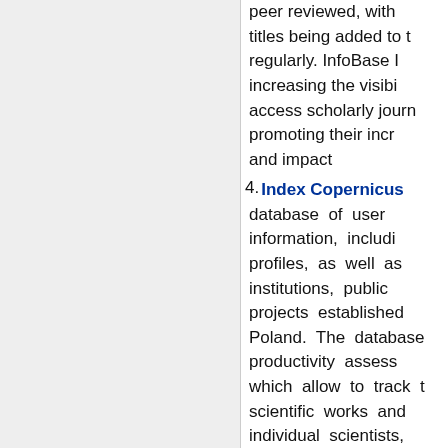peer reviewed, with titles being added to the regularly. InfoBase increasing the visibility access scholarly journals promoting their increasing and impact
4. Index Copernicus – database of user information, including profiles, as well as institutions, publications, projects established in Poland. The database productivity assessments which allow to track the scientific works and individual scientists, institutions. In addition productivity aspects